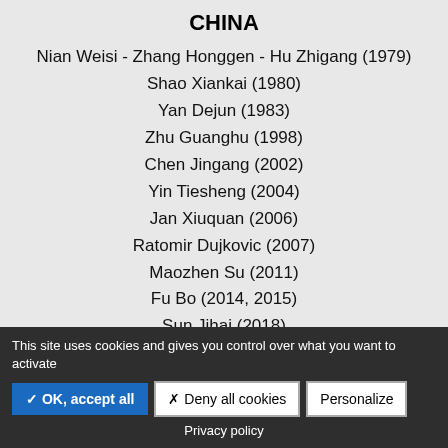CHINA
Nian Weisi - Zhang Honggen - Hu Zhigang (1979)
Shao Xiankai (1980)
Yan Dejun (1983)
Zhu Guanghu (1998)
Chen Jingang (2002)
Yin Tiesheng (2004)
Jan Xiuquan (2006)
Ratomir Dujkovic (2007)
Maozhen Su (2011)
Fu Bo (2014, 2015)
Sun Jihai (2018)
Guus Hiddink (2019)
This site uses cookies and gives you control over what you want to activate
✓ OK, accept all   ✗ Deny all cookies   Personalize
Privacy policy